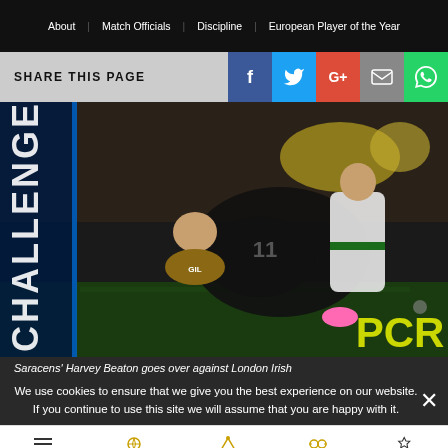About  |  Match Officials  |  Discipline  |  European Player of the Year
SHARE THIS PAGE
[Figure (photo): Saracens' Harvey Beaton dives over to score a try against London Irish in a rugby match, wearing a black kit numbered 11, tackled by a player in white and green kit.]
Saracens' Harvey Beaton goes over against London Irish
We use cookies to ensure that we give you the best experience on our website. If you continue to use this site we will assume that you are happy with it.
Menu  |  Fixtures  |  Results  |  Pools  |  Finals